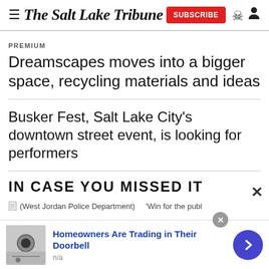The Salt Lake Tribune
PREMIUM
Dreamscapes moves into a bigger space, recycling materials and ideas
Busker Fest, Salt Lake City’s downtown street event, is looking for performers
IN CASE YOU MISSED IT
(West Jordan Police Department)
‘Win for the publ
Homeowners Are Trading in Their Doorbell
n/a